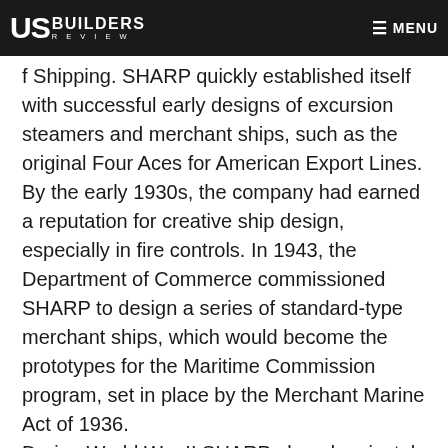US BUILDERS REVIEW | MENU
f Shipping. SHARP quickly established itself with successful early designs of excursion steamers and merchant ships, such as the original Four Aces for American Export Lines. By the early 1930s, the company had earned a reputation for creative ship design, especially in fire controls. In 1943, the Department of Commerce commissioned SHARP to design a series of standard-type merchant ships, which would become the prototypes for the Maritime Commission program, set in place by the Merchant Marine Act of 1936. During World War II SHARP played a pivotal role in the nation's massive emergency ship construction program by designing over 600 vessels, including